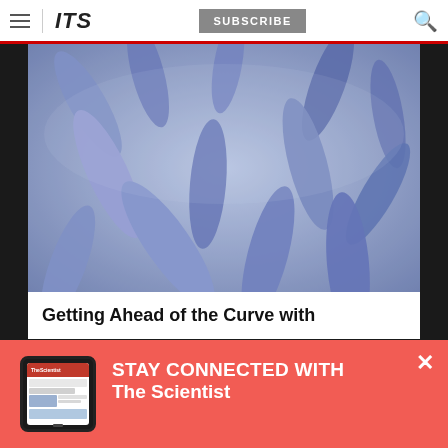ITS | SUBSCRIBE
[Figure (photo): Close-up macro photograph of blue/purple rod-shaped bacteria]
Getting Ahead of the Curve with
[Figure (screenshot): Red overlay popup with tablet device image showing The Scientist app]
STAY CONNECTED WITH The Scientist
Get The Scientist Daily, the free daily newsletter from The Scientist
Sign up for our free newsletter